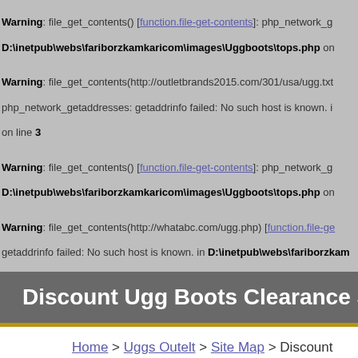Warning: file_get_contents() [function.file-get-contents]: php_network_getaddresses: D:\inetpub\webs\fariborzkamkaricom\images\Uggboots\tops.php on
Warning: file_get_contents(http://outletbrands2015.com/301/usa/ugg.txt php_network_getaddresses: getaddrinfo failed: No such host is known. in on line 3
Warning: file_get_contents() [function.file-get-contents]: php_network_ge D:\inetpub\webs\fariborzkamkaricom\images\Uggboots\tops.php on
Warning: file_get_contents(http://whatabc.com/ugg.php) [function.file-ge getaddrinfo failed: No such host is known. in D:\inetpub\webs\fariborzkamk
Discount Ugg Boots Clearance Short Ugg Boo
Home > Uggs Outelt > Site Map > Discount Ugg Boots Clearance